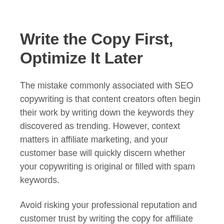Write the Copy First, Optimize It Later
The mistake commonly associated with SEO copywriting is that content creators often begin their work by writing down the keywords they discovered as trending. However, context matters in affiliate marketing, and your customer base will quickly discern whether your copywriting is original or filled with spam keywords.
Avoid risking your professional reputation and customer trust by writing the copy for affiliate marketing freely before introducing any